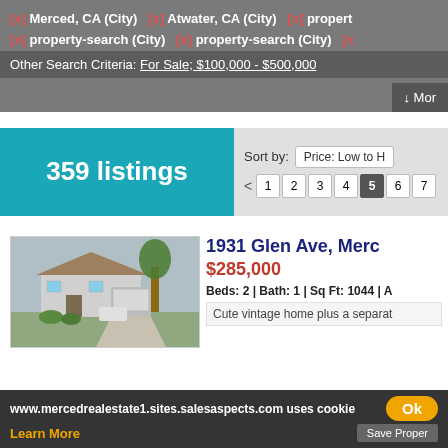[x] Merced, CA (City)   [x] Atwater, CA (City)   [x] property-search (City)   [x] property-search (City)
Other Search Criteria: For Sale; $100,000 - $500,000
↓ More
359 listings
Sort by: Price: Low to H...
< 1 2 3 4 5 6 7 ...
[Figure (photo): Photo of a house at 1931 Glen Ave - a white single-story home with garage and driveway, with trees and shrubs]
1931 Glen Ave, Merc...
$285,000
Beds: 2 | Bath: 1 | Sq Ft: 1044 | A...
Cute vintage home plus a separat...
www.mercedrealestate1.sites.salesaspects.com uses cookie...
Ok
Learn More
Save Property